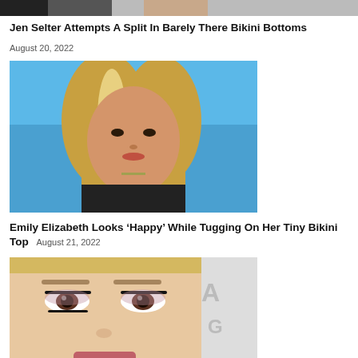[Figure (photo): Partial top image cropped at top, shows person]
Jen Selter Attempts A Split In Barely There Bikini Bottoms
August 20, 2022
[Figure (photo): Young blonde woman in black bikini top against blue sky background]
Emily Elizabeth Looks 'Happy' While Tugging On Her Tiny Bikini Top August 21, 2022
[Figure (photo): Close-up of blonde woman's face with glamorous makeup]